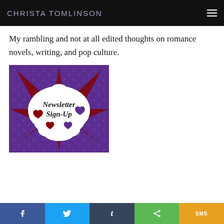CHRISTA TOMLINSON
My rambling and not at all edited thoughts on romance novels, writing, and pop culture.
[Figure (illustration): Newsletter Sign-Up graphic: comic book style image on purple dotted background with dark red starburst and white cloud/smoke shape containing hearts and the text 'Newsletter Sign-Up' in decorative script.]
f  [Twitter bird]  t  [Share]  SMS